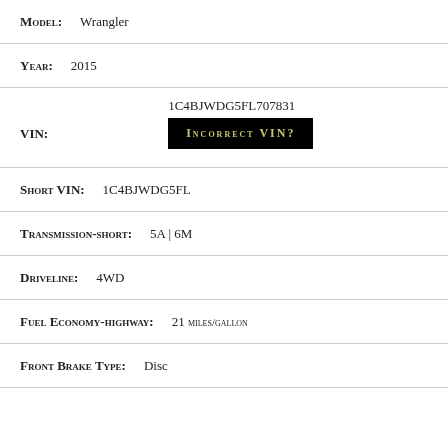Model: Wrangler
Year: 2015
VIN: 1C4BJWDG5FL707831 INCORRECT VIN?
Short VIN: 1C4BJWDG5FL
Transmission-short: 5A | 6M
Driveline: 4WD
Fuel Economy-highway: 21 miles/gallon
Front Brake Type: Disc